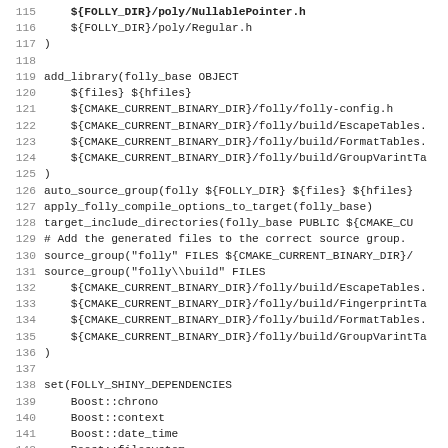Code listing lines 115-147 of a CMakeLists.txt file showing folly build configuration including add_library, source_group, and set(FOLLY_SHINY_DEPENDENCIES commands.